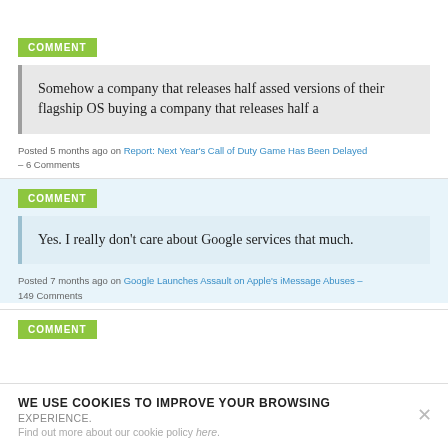COMMENT
Somehow a company that releases half assed versions of their flagship OS buying a company that releases half a
Posted 5 months ago on Report: Next Year’s Call of Duty Game Has Been Delayed – 6 Comments
COMMENT
Yes. I really don’t care about Google services that much.
Posted 7 months ago on Google Launches Assault on Apple’s iMessage Abuses – 149 Comments
COMMENT
WE USE COOKIES TO IMPROVE YOUR BROWSING EXPERIENCE. Find out more about our cookie policy here.